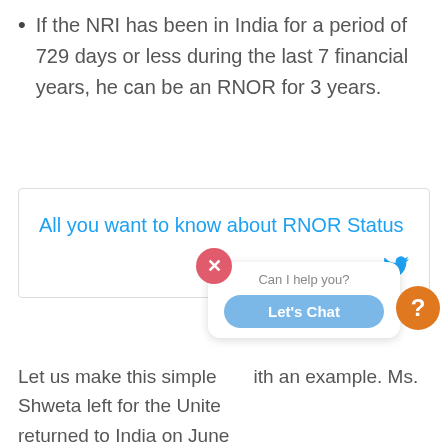If the NRI has been in India for a period of 729 days or less during the last 7 financial years, he can be an RNOR for 3 years.
[Figure (other): Tweet box with link text 'All you want to know about RNOR Status' and 'Click to Tweet' with Twitter bird icon]
Let us make this simple with an example. Ms. Shweta left for the United [States and] returned to India on June [xx, 2017. She is] considered as an RNOR for the financial year April 2017-March 2018.